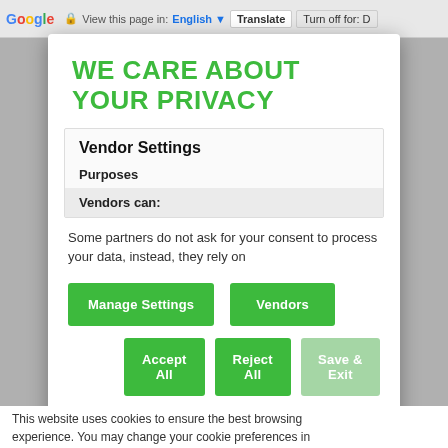Google  View this page in: English  Translate  Turn off for: D
WE CARE ABOUT YOUR PRIVACY
Vendor Settings
Purposes
Vendors can:
Some partners do not ask for your consent to process your data, instead, they rely on
Manage Settings
Vendors
Accept All
Reject All
Save & Exit
This website uses cookies to ensure the best browsing experience. You may change your cookie preferences in